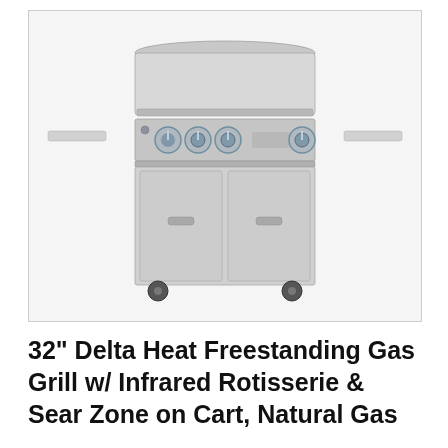[Figure (photo): A stainless steel freestanding gas grill with four control knobs, two cabinet doors with handles, side shelves, and wheels. The grill is photographed from the front against a white background.]
32" Delta Heat Freestanding Gas Grill w/ Infrared Rotisserie & Sear Zone on Cart, Natural Gas